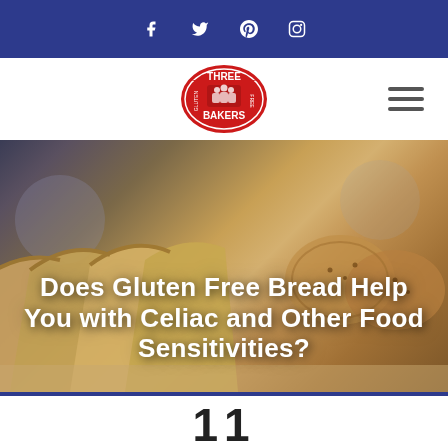Social media icons: Facebook, Twitter, Pinterest, Instagram
[Figure (logo): Three Bakers Gluten Free logo — red oval badge with bakers illustration and text 'THREE BAKERS GLUTEN FREE']
[Figure (photo): Close-up photo of sliced gluten-free bread loaves on a cutting board, blurred background of a kitchen]
Does Gluten Free Bread Help You with Celiac and Other Food Sensitivities?
11